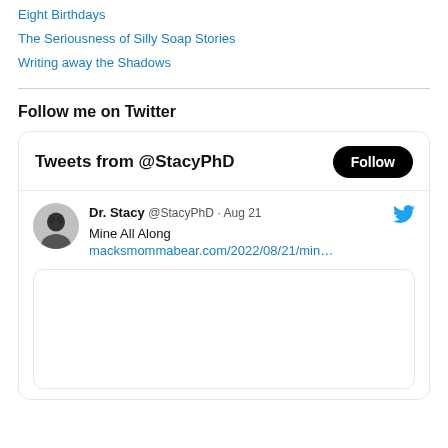Eight Birthdays
The Seriousness of Silly Soap Stories
Writing away the Shadows
Follow me on Twitter
[Figure (screenshot): Twitter widget showing 'Tweets from @StacyPhD' with a Follow button, and a tweet from Dr. Stacy @StacyPhD dated Aug 21 with text 'Mine All Along' and link macksmommabear.com/2022/08/21/min...]